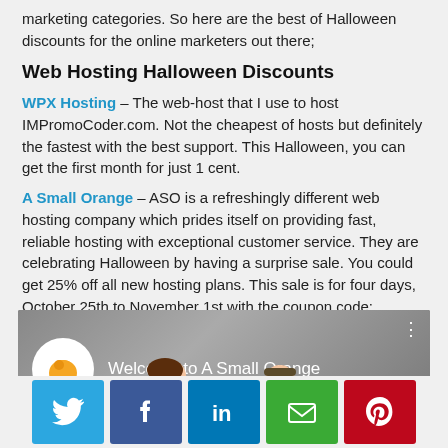marketing categories. So here are the best of Halloween discounts for the online marketers out there;
Web Hosting Halloween Discounts
WPX Hosting – The web-host that I use to host IMPromoCoder.com. Not the cheapest of hosts but definitely the fastest with the best support. This Halloween, you can get the first month for just 1 cent.
A Small Orange – ASO is a refreshingly different web hosting company which prides itself on providing fast, reliable hosting with exceptional customer service. They are celebrating Halloween by having a surprise sale. You could get 25% off all new hosting plans. This sale is for four days, October 25th to November 1st with the coupon code: GETSCARY. Follow this link to enjoy the discount.
[Figure (screenshot): Video thumbnail showing 'Welcome to A Small Orange' with the company logo and animated characters]
[Figure (infographic): Social sharing buttons: Twitter (blue), Facebook (dark blue), LinkedIn (light blue), Email (green), Pinterest (red)]